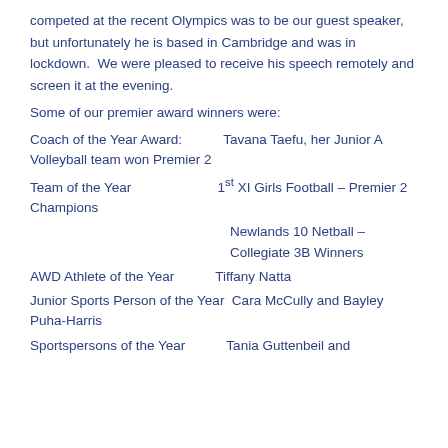competed at the recent Olympics was to be our guest speaker, but unfortunately he is based in Cambridge and was in lockdown.  We were pleased to receive his speech remotely and screen it at the evening.
Some of our premier award winners were:
Coach of the Year Award:            Tavana Taefu, her Junior A Volleyball team won Premier 2
Team of the Year                    1st XI Girls Football – Premier 2 Champions
Newlands 10 Netball – Collegiate 3B Winners
AWD Athlete of the Year             Tiffany Natta
Junior Sports Person of the Year  Cara McCully and Bayley Puha-Harris
Sportspersons of the Year           Tania Guttenbeil and